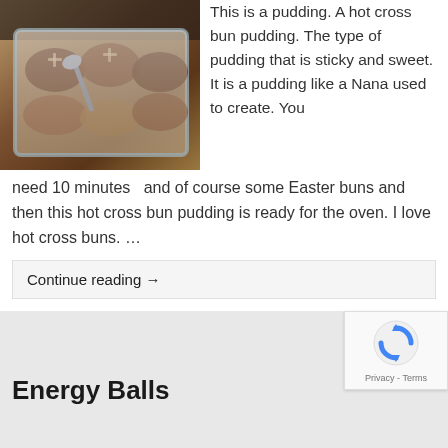[Figure (photo): Hot cross bun bread pudding in a glass baking dish with a spoon, baked golden-brown]
This is a pudding. A hot cross bun pudding. The type of pudding that is sticky and sweet. It is a pudding like a Nana used to create. You need 10 minutes  and of course some Easter buns and then this hot cross bun pudding is ready for the oven. I love hot cross buns. …
Continue reading →
Energy Balls